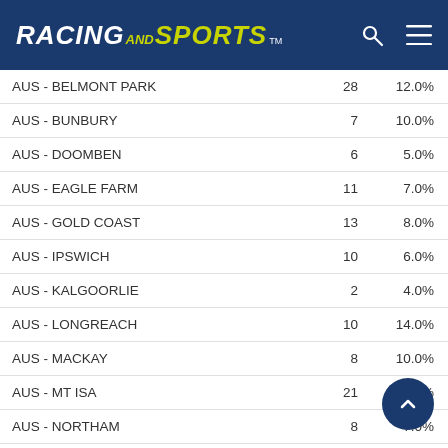RACING AND SPORTS
| Venue | Count | Percentage |
| --- | --- | --- |
| AUS - BELMONT PARK | 28 | 12.0% |
| AUS - BUNBURY | 7 | 10.0% |
| AUS - DOOMBEN | 6 | 5.0% |
| AUS - EAGLE FARM | 11 | 7.0% |
| AUS - GOLD COAST | 13 | 8.0% |
| AUS - IPSWICH | 10 | 6.0% |
| AUS - KALGOORLIE | 2 | 4.0% |
| AUS - LONGREACH | 10 | 14.0% |
| AUS - MACKAY | 8 | 10.0% |
| AUS - MT ISA | 21 | 20.0% |
| AUS - NORTHAM | 8 | 7.0% |
| AUS - PINJARRA | 2 | 3.0% |
| AUS - ROCKHAMPTON (OLD) | 35 | 13.0% |
| AUS - SUNSHINE COAST | 16 | 7.0% |
| AUS - TOOWOOMBA | 24 | 11.0% |